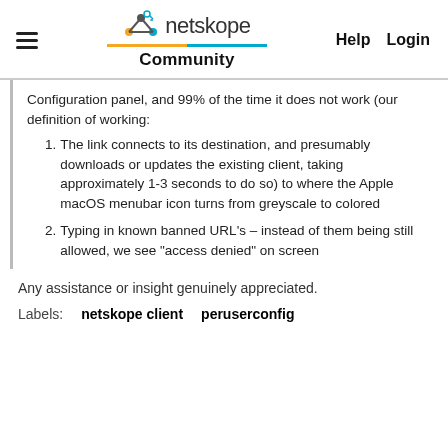netskope Community | Help | Login
Configuration panel, and 99% of the time it does not work (our definition of working:
1. The link connects to its destination, and presumably downloads or updates the existing client, taking approximately 1-3 seconds to do so) to where the Apple macOS menubar icon turns from greyscale to colored
2. Typing in known banned URL's – instead of them being still allowed, we see "access denied" on screen
Any assistance or insight genuinely appreciated.
Labels: netskope client   peruserconfig